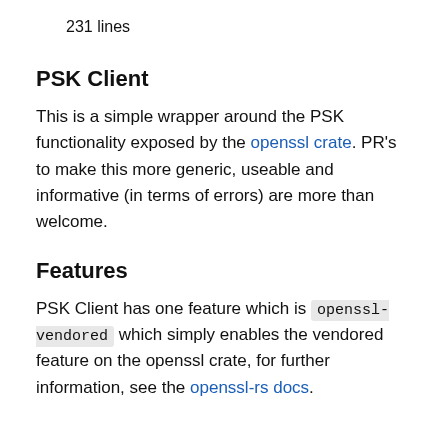231 lines
PSK Client
This is a simple wrapper around the PSK functionality exposed by the openssl crate. PR's to make this more generic, useable and informative (in terms of errors) are more than welcome.
Features
PSK Client has one feature which is openssl-vendored which simply enables the vendored feature on the openssl crate, for further information, see the openssl-rs docs.